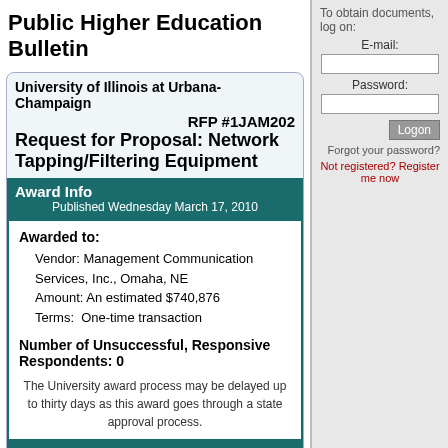Public Higher Education Bulletin
University of Illinois at Urbana-Champaign
RFP #1JAM202
Request for Proposal: Network Tapping/Filtering Equipment
Award Info
Published Wednesday March 17, 2010
Awarded to:
Vendor: Management Communication Services, Inc., Omaha, NE
Amount: An estimated $740,876
Terms:  One-time transaction
Number of Unsuccessful, Responsive Respondents: 0
The University award process may be delayed up to thirty days as this award goes through a state approval process.
This notice has been modified
Published Wednesday December 9, 2009
To obtain documents, log on:
E-mail:
Password:
Logon
Forgot your password?
Not registered? Register me now